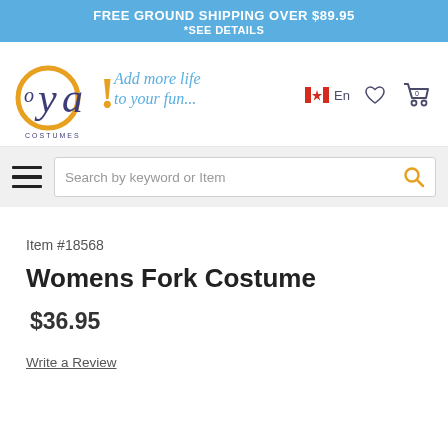FREE GROUND SHIPPING OVER $89.95
*SEE DETAILS
[Figure (logo): Oya Costumes logo with tagline 'Add more life to your fun...']
Search by keyword or Item
Item #18568
Womens Fork Costume
$36.95
Write a Review